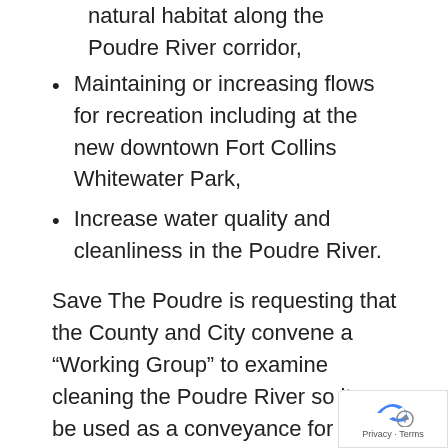natural habitat along the Poudre River corridor,
Maintaining or increasing flows for recreation including at the new downtown Fort Collins Whitewater Park,
Increase water quality and cleanliness in the Poudre River.
Save The Poudre is requesting that the County and City convene a “Working Group” to examine cleaning the Poudre River so it can be used as a conveyance for water supply.
Second, last week the City of Fort Collins informed NISP that their Site Plan Advis…